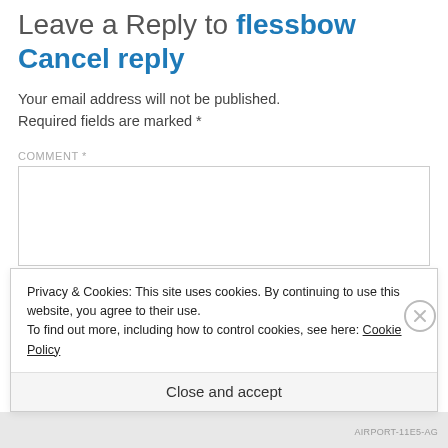Leave a Reply to flessbow Cancel reply
Your email address will not be published. Required fields are marked *
COMMENT *
Privacy & Cookies: This site uses cookies. By continuing to use this website, you agree to their use. To find out more, including how to control cookies, see here: Cookie Policy
Close and accept